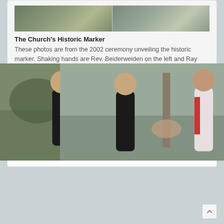[Figure (photo): Two photos side by side showing people at the 2002 historic marker ceremony]
The Church's Historic Marker
These photos are from the 2002 ceremony unveiling the historic marker. Shaking hands are Rev. Beiderweiden on the left and Ray Ebert on the right. -- Photos courtesy of Bonnie Hughes
Recommended Reading
Arcadia 1880-1980
by the Arcadia Centennial Committee

Available at the Arcadia Area History Museum Store.